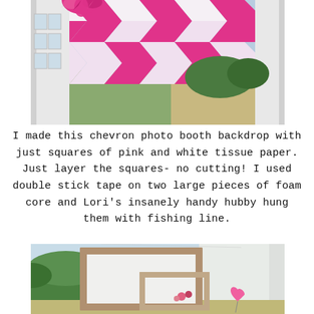[Figure (photo): Outdoor photo of a large pink and white chevron pattern backdrop made from tissue paper squares, hanging between white pillars. A pink tissue paper pom-pom is visible at the top left.]
I made this chevron photo booth backdrop with just squares of pink and white tissue paper. Just layer the squares- no cutting! I used double stick tape on two large pieces of foam core and Lori's insanely handy hubby hung them with fishing line.
[Figure (photo): Outdoor photo showing rustic wooden frames leaning against bushes near a white building, with a pink heart-shaped balloon visible on the right side.]